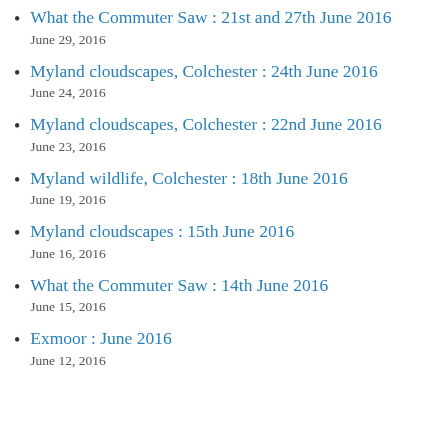What the Commuter Saw : 21st and 27th June 2016
June 29, 2016
Myland cloudscapes, Colchester : 24th June 2016
June 24, 2016
Myland cloudscapes, Colchester : 22nd June 2016
June 23, 2016
Myland wildlife, Colchester : 18th June 2016
June 19, 2016
Myland cloudscapes : 15th June 2016
June 16, 2016
What the Commuter Saw : 14th June 2016
June 15, 2016
Exmoor : June 2016
June 12, 2016